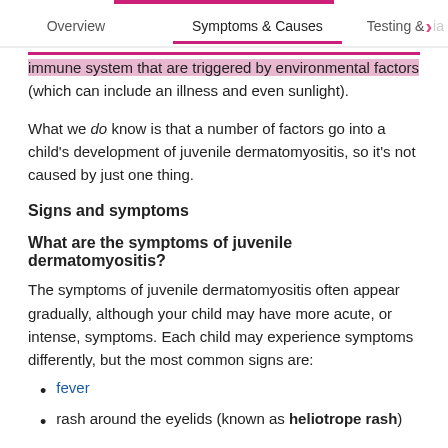Overview | Symptoms & Causes | Testing & ...
immune system that are triggered by environmental factors (which can include an illness and even sunlight).
What we do know is that a number of factors go into a child's development of juvenile dermatomyositis, so it's not caused by just one thing.
Signs and symptoms
What are the symptoms of juvenile dermatomyositis?
The symptoms of juvenile dermatomyositis often appear gradually, although your child may have more acute, or intense, symptoms. Each child may experience symptoms differently, but the most common signs are:
fever
rash around the eyelids (known as heliotrope rash)